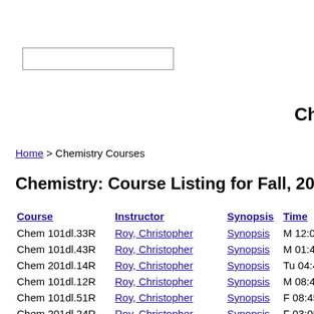[Figure (screenshot): Search input box]
Chemistry Courses
Home > Chemistry Courses
Chemistry: Course Listing for Fall, 2012
| Course | Instructor | Synopsis | Time |
| --- | --- | --- | --- |
| Chem 101dl.33R | Roy, Christopher | Synopsis | M 12:00 PM-12:... |
| Chem 101dl.43R | Roy, Christopher | Synopsis | M 01:40 PM-02:... |
| Chem 201dl.14R | Roy, Christopher | Synopsis | Tu 04:40 PM-0... |
| Chem 101dl.12R | Roy, Christopher | Synopsis | M 08:45 AM-09:... |
| Chem 101dl.51R | Roy, Christopher | Synopsis | F 08:45 AM-09:... |
| Chem 201dl.24R | Roy, Christopher | Synopsis | F 03:05 PM-03:... |
| Chem 311dl.1... | Roy, Christopher | Synopsis | M(7:45... |